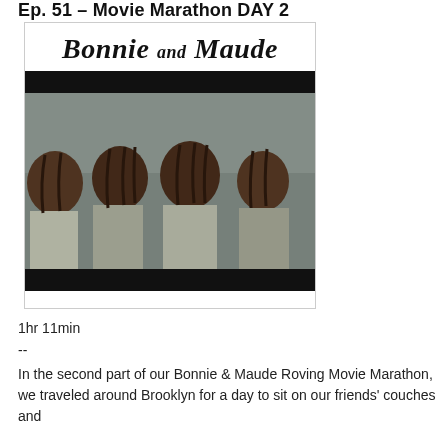Ep. 51 – Movie Marathon DAY 2
[Figure (photo): Bonnie and Maude podcast logo with photo of four Black women with braids sitting together outdoors, laughing and smiling]
1hr 11min
--
In the second part of our Bonnie & Maude Roving Movie Marathon, we traveled around Brooklyn for a day to sit on our friends' couches and